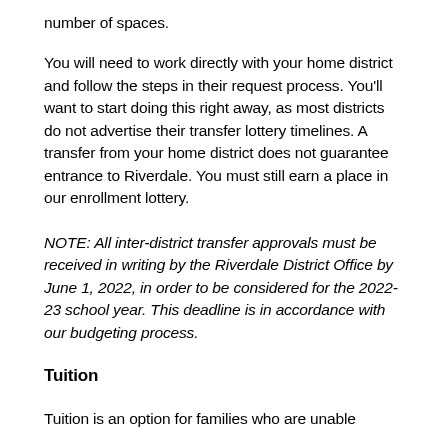number of spaces.
You will need to work directly with your home district and follow the steps in their request process. You'll want to start doing this right away, as most districts do not advertise their transfer lottery timelines. A transfer from your home district does not guarantee entrance to Riverdale. You must still earn a place in our enrollment lottery.
NOTE: All inter-district transfer approvals must be received in writing by the Riverdale District Office by June 1, 2022, in order to be considered for the 2022-23 school year. This deadline is in accordance with our budgeting process.
Tuition
Tuition is an option for families who are unable